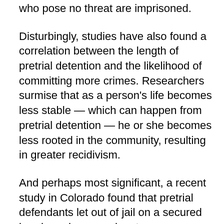who pose no threat are imprisoned.
Disturbingly, studies have also found a correlation between the length of pretrial detention and the likelihood of committing more crimes. Researchers surmise that as a person's life becomes less stable — which can happen from pretrial detention — he or she becomes less rooted in the community, resulting in greater recidivism.
And perhaps most significant, a recent study in Colorado found that pretrial defendants let out of jail on a secured bond — where one has to pay money upfront to be released — were no more likely to show up for court than those released on an unsecured bond, where a defendant signs a contract agreeing to appear before the court.
Thankfully, a conversation is beginning to occur both locally and nationally about reforming the financial-bail